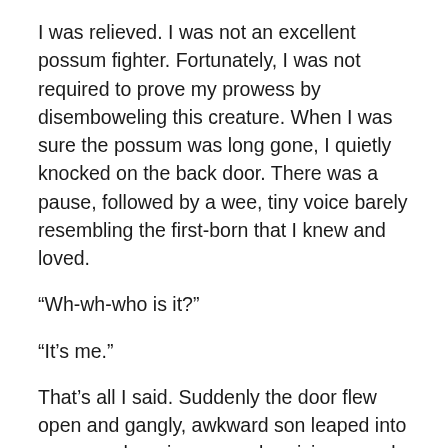I was relieved. I was not an excellent possum fighter. Fortunately, I was not required to prove my prowess by disemboweling this creature. When I was sure the possum was long gone, I quietly knocked on the back door. There was a pause, followed by a wee, tiny voice barely resembling the first-born that I knew and loved.
“Wh-wh-who is it?”
“It’s me.”
That’s all I said. Suddenly the door flew open and gangly, awkward son leaped into my arms, hugging me and praising my role as his savior. I hadn’t identified myself in any way except through my voice. But because he knew he had called for my help, and I said I was on the way, he was not surprised when I arrived. He was not afraid to let me in. He was overjoyed.